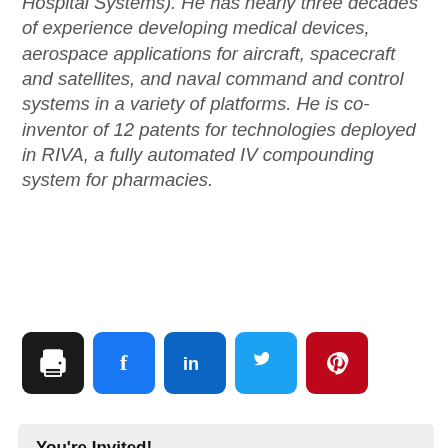Hospital Systems). He has nearly three decades of experience developing medical devices, aerospace applications for aircraft, spacecraft and satellites, and naval command and control systems in a variety of platforms. He is co-inventor of 12 patents for technologies deployed in RIVA, a fully automated IV compounding system for pharmacies.
[Figure (other): Row of five social share buttons: print (black), Facebook (blue), LinkedIn (dark blue), Twitter (light blue), Pinterest (red), each as rounded square icons with white symbols.]
You're Invited!
Don't miss your weekly dose of packaging intelligence and news with Healthcare Packaging's e-newsletter.
Work Email *